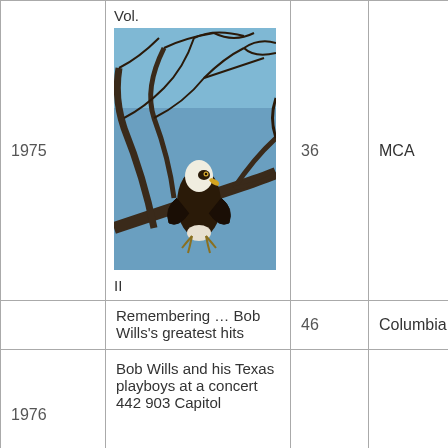| Year | Title | Chart position | Label |
| --- | --- | --- | --- |
| 1975 | Vol.
[image: bald eagle photo]
II | 36 | MCA |
|  | Remembering … Bob Wills's greatest hits | 46 | Columbia |
| 1976 | Bob Wills and his Texas playboys at a concert 442 903 Capitol |  |  |
|  |  |  |  |